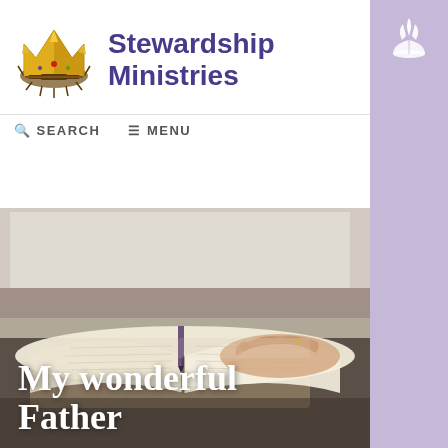[Figure (logo): Stewardship Ministries crown logo with thorns — golden crown]
Stewardship Ministries
SEARCH  MENU
[Figure (photo): Elderly hands resting on an open Bible near a window — warm, soft lighting]
My wonderful Father
[Figure (logo): Seventh-day Adventist Church logo — white flame/book on purple background in right sidebar]